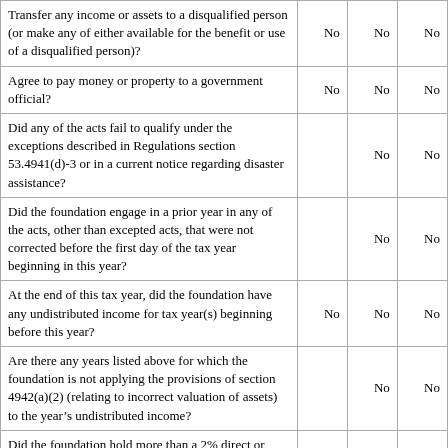| Question | Col A | Col B | Col C |
| --- | --- | --- | --- |
| Transfer any income or assets to a disqualified person (or make any of either available for the benefit or use of a disqualified person)? | No | No | No |
| Agree to pay money or property to a government official? | No | No | No |
| Did any of the acts fail to qualify under the exceptions described in Regulations section 53.4941(d)-3 or in a current notice regarding disaster assistance? |  | No | No |
| Did the foundation engage in a prior year in any of the acts, other than excepted acts, that were not corrected before the first day of the tax year beginning in this year? |  | No | No |
| At the end of this tax year, did the foundation have any undistributed income for tax year(s) beginning before this year? | No | No | No |
| Are there any years listed above for which the foundation is not applying the provisions of section 4942(a)(2) (relating to incorrect valuation of assets) to the year's undistributed income? |  | No | No |
| Did the foundation hold more than a 2% direct or indirect interest in any business enterprise at any time during the year? | No | No | No |
| Did the foundation have excess business holdings in this year as a result of (1) any purchase by the foundation or disqualified persons after May 26, 1969; |  |  |  |